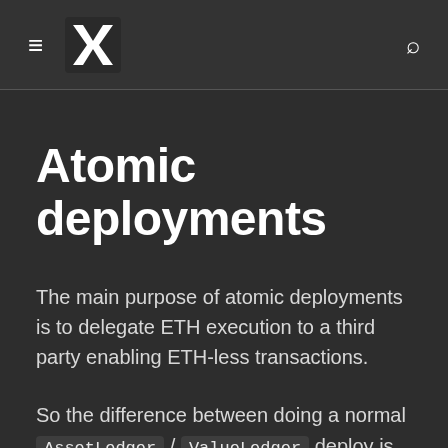≡ [logo] Q
Atomic deployments
The main purpose of atomic deployments is to delegate ETH execution to a third party enabling ETH-less transactions.
So the difference between doing a normal AssetLedger / ValueLedger deploy is that in an atomic deploy you specify what kind of ledger you are creating (same as doing a normal deploy), as well as the receiver of a value transaction (fee), and who can